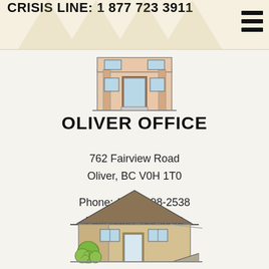CRISIS LINE: 1 877 723 3911
[Figure (illustration): Line drawing of a two-story office building with a central door, side windows and columns]
OLIVER OFFICE
762 Fairview Road
Oliver, BC V0H 1T0
Phone: (250) 498-2538
Fax: (250) 498-6088
[Figure (illustration): Line drawing of a single-story bungalow office building with a hip roof, ramp/awning, and a green shrub in front]